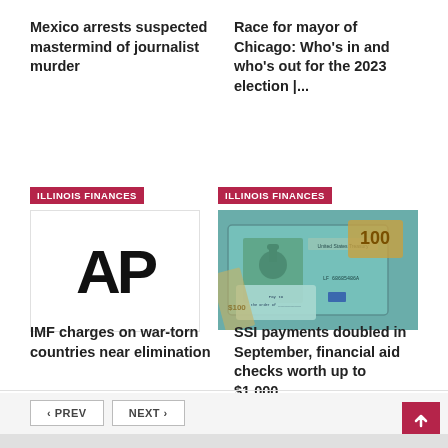Mexico arrests suspected mastermind of journalist murder
Race for mayor of Chicago: Who's in and who's out for the 2023 election |...
[Figure (logo): AP (Associated Press) logo in large bold black letters on white background, with ILLINOIS FINANCES red badge above]
[Figure (photo): Photo of US dollar bills and a Treasury check, with ILLINOIS FINANCES red badge above]
IMF charges on war-torn countries near elimination
SSI payments doubled in September, financial aid checks worth up to $1,000...
< PREV
NEXT >